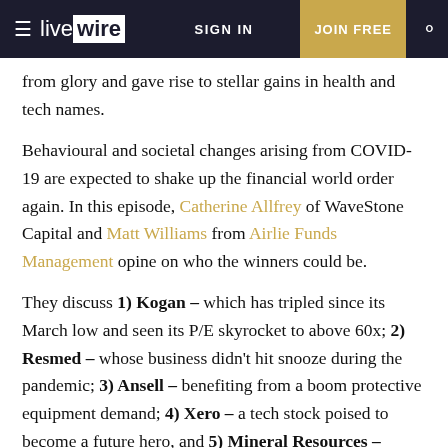livewire   SIGN IN   JOIN FREE
from glory and gave rise to stellar gains in health and tech names.
Behavioural and societal changes arising from COVID-19 are expected to shake up the financial world order again. In this episode, Catherine Allfrey of WaveStone Capital and Matt Williams from Airlie Funds Management opine on who the winners could be.
They discuss 1) Kogan – which has tripled since its March low and seen its P/E skyrocket to above 60x; 2) Resmed – whose business didn't hit snooze during the pandemic; 3) Ansell – benefiting from a boom protective equipment demand; 4) Xero – a tech stock poised to become a future hero, and 5) Mineral Resources – which is riding a rejuvenated